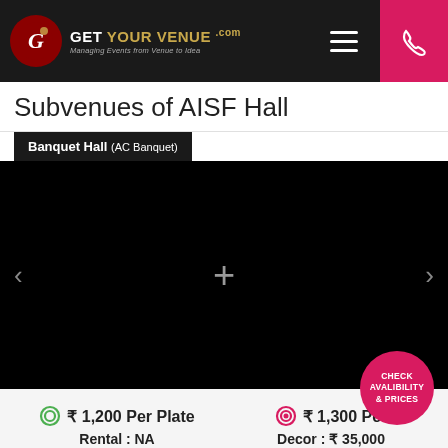GET YOUR VENUE .COM — Managing Events from Venue to Idea
Subvenues of AISF Hall
Banquet Hall (AC Banquet)
[Figure (photo): Black image carousel area for Banquet Hall venue photos, with left and right navigation arrows and a plus icon in the center]
CHECK AVALIBILITY & PRICES
₹ 1,200 Per Plate
Rental : NA
₹ 1,300 Per
Decor : ₹ 35,000